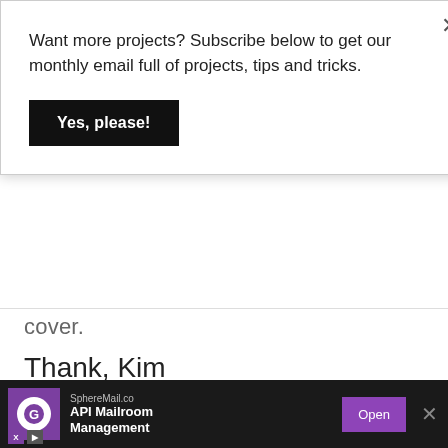Want more projects? Subscribe below to get our monthly email full of projects, tips and tricks.
Yes, please!
cover.
Thank, Kim
Reply
DEBORAH SOMMERLOT says
FEBRUARY 9, 2020 AT 2:14 PM
[Figure (photo): Sepia-toned photo of a man and woman posing together]
SphereMail.co API Mailroom Management Open